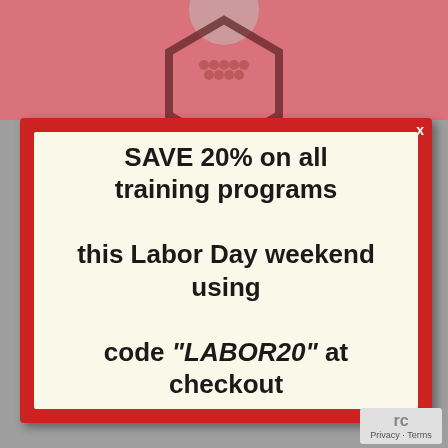[Figure (infographic): Screenshot of a promotional popup overlay on a website. Pink/red background with decorative hexagonal graphic at top. A modal dialog with thick red border and cream/off-white interior displays a Labor Day discount promotion. A grey background is behind the lower portion.]
SAVE 20% on all training programs this Labor Day weekend using code "LABOR20" at checkout
Privacy · Terms